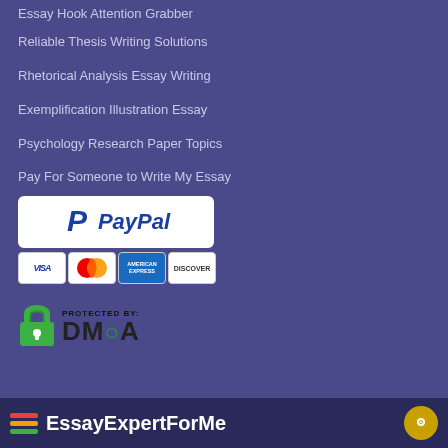Essay Hook Attention Grabber
Reliable Thesis Writing Solutions
Rhetorical Analysis Essay Writing
Exemplification Illustration Essay
Psychology Research Paper Topics
Pay For Someone to Write My Essay
[Figure (logo): PayPal logo in white rounded rectangle box]
[Figure (logo): Payment cards row: VISA, Mastercard, American Express, Discover]
[Figure (logo): DMCA Protected badge with green lock icon]
[Figure (logo): EssayExpertForMe footer logo with stacked colored lines icon and chat button]